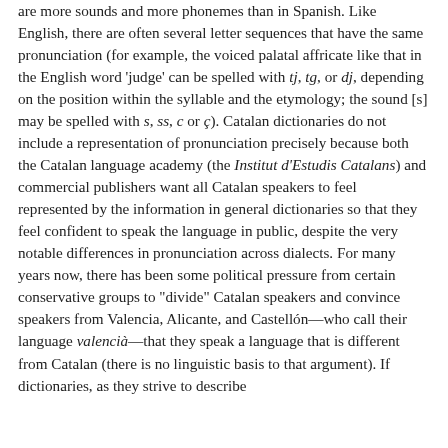are more sounds and more phonemes than in Spanish. Like English, there are often several letter sequences that have the same pronunciation (for example, the voiced palatal affricate like that in the English word 'judge' can be spelled with tj, tg, or dj, depending on the position within the syllable and the etymology; the sound [s] may be spelled with s, ss, c or ç). Catalan dictionaries do not include a representation of pronunciation precisely because both the Catalan language academy (the Institut d'Estudis Catalans) and commercial publishers want all Catalan speakers to feel represented by the information in general dictionaries so that they feel confident to speak the language in public, despite the very notable differences in pronunciation across dialects. For many years now, there has been some political pressure from certain conservative groups to "divide" Catalan speakers and convince speakers from Valencia, Alicante, and Castellón—who call their language valencià—that they speak a language that is different from Catalan (there is no linguistic basis to that argument). If dictionaries, as they strive to describe